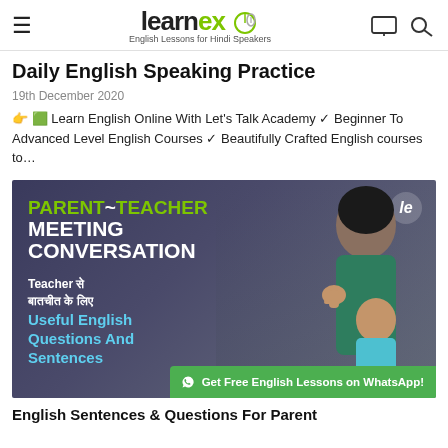learnex — English Lessons for Hindi Speakers
Daily English Speaking Practice
19th December 2020
👉 🟩 Learn English Online With Let's Talk Academy ✓ Beginner To Advanced Level English Courses ✓ Beautifully Crafted English courses to…
[Figure (photo): Thumbnail image for 'Parent~Teacher Meeting Conversation' lesson. Shows a woman and a child with text overlay: PARENT~TEACHER MEETING CONVERSATION, Teacher से बातचीत के लिए Useful English Questions And Sentences. Green WhatsApp button: Get Free English Lessons on WhatsApp!]
English Sentences & Questions For Parent